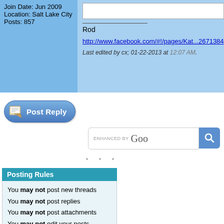Join Date: Jun 2009
Location: Salt Lake City
Posts: 857
Rod
http://www.facebook.com/#!/pages/Kat...2671384
Last edited by cx; 01-22-2013 at 12:07 AM.
[Figure (other): Post Reply button with icon]
[Figure (other): Enhanced by Google search box with search button]
· · ·
Posting Rules
You may not post new threads
You may not post replies
You may not post attachments
You may not edit your posts
BB code is On
Smilies are On
[IMG] code is On
HTML code is On